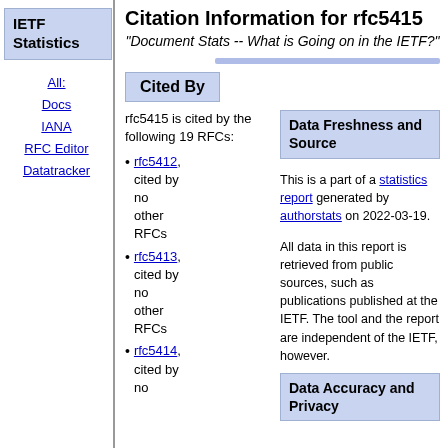IETF Statistics
All:
Docs
IANA
RFC Editor
Datatracker
Citation Information for rfc5415
"Document Stats -- What is Going on in the IETF?"
Cited By
rfc5415 is cited by the following 19 RFCs:
rfc5412, cited by no other RFCs
rfc5413, cited by no other RFCs
rfc5414, cited by no
Data Freshness and Source
This is a part of a statistics report generated by authorstats on 2022-03-19.
All data in this report is retrieved from public sources, such as publications published at the IETF. The tool and the report are independent of the IETF, however.
Data Accuracy and Privacy